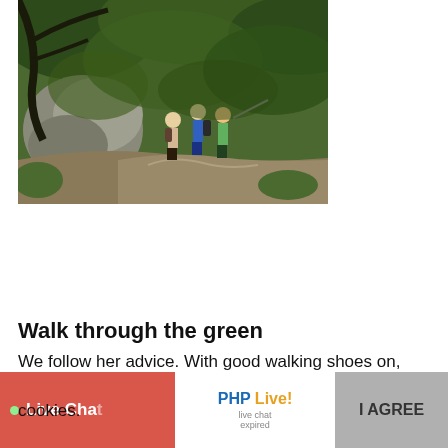[Figure (photo): Three hikers walking along a rocky trail through dense green forest with large boulders and overhanging tree branches]
Walk through the green
We follow her advice. With good walking shoes on, plenty of water with us and a sandwich and bikini in cookies.
Live Chat
[Figure (logo): PHP Live! live chat expired badge]
I AGREE